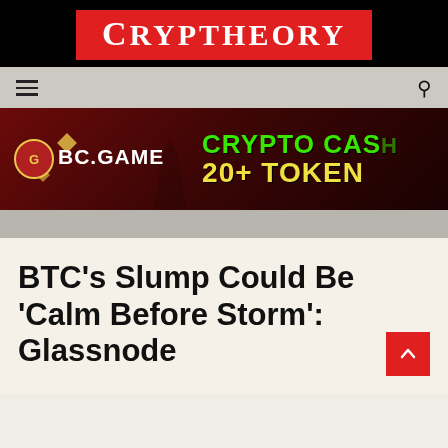CRYPTHEORY
[Figure (screenshot): BC.GAME advertisement banner with green text reading 'CRYPTO CASH 20+ TOKEN' on dark red background]
BTC’s Slump Could Be ‘Calm Before Storm’: Glassnode